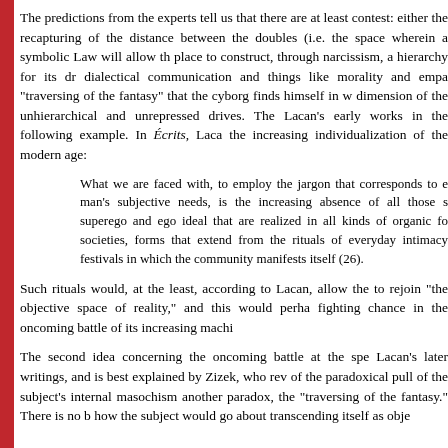The predictions from the experts tell us that there are at least contest: either the recapturing of the distance between the doubles (i.e. the space wherein a symbolic Law will allow th place to construct, through narcissism, a hierarchy for its dr dialectical communication and things like morality and empa "traversing of the fantasy" that the cyborg finds himself in w dimension of the unhierarchical and unrepressed drives. The Lacan's early works in the following example. In Écrits, Laca the increasing individualization of the modern age:
What we are faced with, to employ the jargon that corresponds to e man's subjective needs, is the increasing absence of all those s superego and ego ideal that are realized in all kinds of organic fo societies, forms that extend from the rituals of everyday intimacy festivals in which the community manifests itself (26).
Such rituals would, at the least, according to Lacan, allow the to rejoin "the objective space of reality," and this would perha fighting chance in the oncoming battle of its increasing machi
The second idea concerning the oncoming battle at the spe Lacan's later writings, and is best explained by Zizek, who rev of the paradoxical pull of the subject's internal masochism another paradox, the "traversing of the fantasy." There is no b how the subject would go about transcending itself as obje